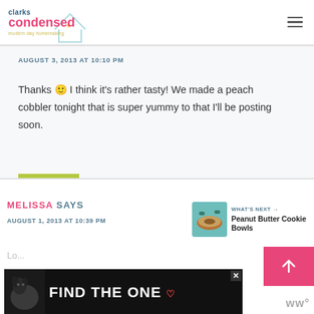clarks condensed — modern day homemaking
AUGUST 3, 2013 AT 10:10 PM
Thanks 🙂 I think it's rather tasty! We made a peach cobbler tonight that is super yummy to that I'll be posting soon.
REPLY
MELISSA SAYS
AUGUST 1, 2013 AT 10:39 PM
[Figure (screenshot): WHAT'S NEXT arrow with Peanut Butter Cookie Bowls thumbnail]
[Figure (photo): Advertisement banner: dog with FIND THE ONE text and heart icon, with close button]